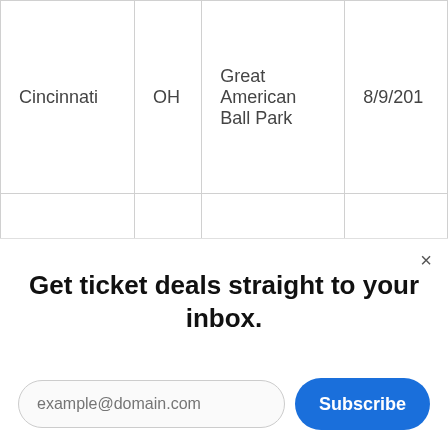| City | State | Venue | Date |
| --- | --- | --- | --- |
| Cincinnati | OH | Great American Ball Park | 8/9/201 |
| Cincinnati | OH | Great American Ball Park | 8/10/201 |
| Cincinnati | OH | Great American Ball Park | 8/11/201 |
Get ticket deals straight to your inbox.